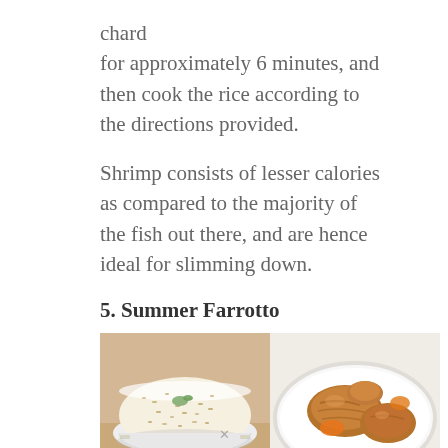chard
for approximately 6 minutes, and then cook the rice according to the directions provided.
Shrimp consists of lesser calories as compared to the majority of the fish out there, and are hence ideal for slimming down.
5. Summer Farrotto
[Figure (photo): Two food photos side by side: left shows a white bowl of creamy risotto/farrotto with herbs; right shows roasted chicken or shrimp pieces on a white plate.]